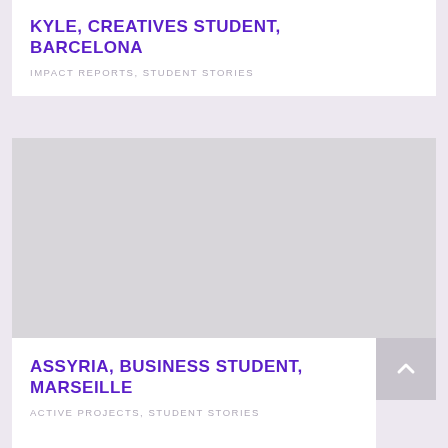KYLE, CREATIVES STUDENT, BARCELONA
IMPACT REPORTS, STUDENT STORIES
[Figure (photo): Gray placeholder image for Assyria business student Marseille article]
ASSYRIA, BUSINESS STUDENT, MARSEILLE
ACTIVE PROJECTS, STUDENT STORIES